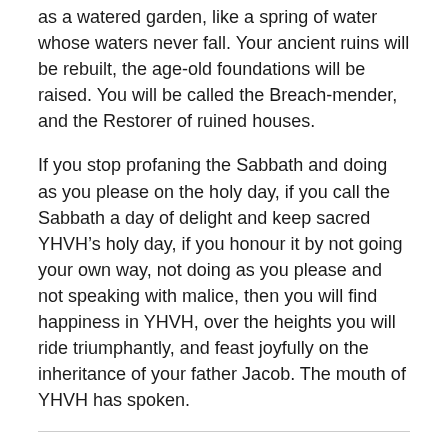as a watered garden, like a spring of water whose waters never fall. Your ancient ruins will be rebuilt, the age-old foundations will be raised. You will be called the Breach-mender, and the Restorer of ruined houses.
If you stop profaning the Sabbath and doing as you please on the holy day, if you call the Sabbath a day of delight and keep sacred YHVH’s holy day, if you honour it by not going your own way, not doing as you please and not speaking with malice, then you will find happiness in YHVH, over the heights you will ride triumphantly, and feast joyfully on the inheritance of your father Jacob. The mouth of YHVH has spoken.
Rate this: